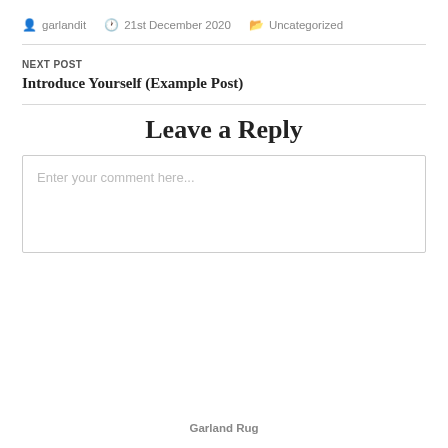garlandit  21st December 2020  Uncategorized
NEXT POST
Introduce Yourself (Example Post)
Leave a Reply
Enter your comment here...
Garland Rug